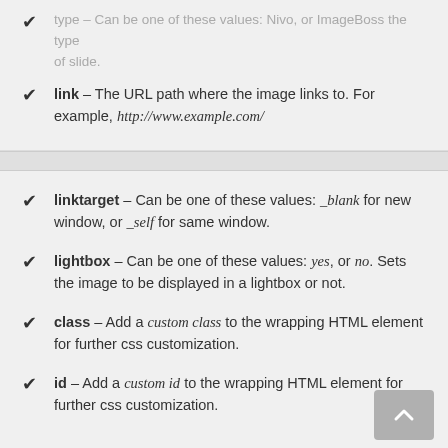type – Can be one of these values: Nivo, or ImageBoss the type of slide.
link – The URL path where the image links to. For example, http://www.example.com/
linktarget – Can be one of these values: _blank for new window, or _self for same window.
lightbox – Can be one of these values: yes, or no. Sets the image to be displayed in a lightbox or not.
class – Add a custom class to the wrapping HTML element for further css customization.
id – Add a custom id to the wrapping HTML element for further css customization.